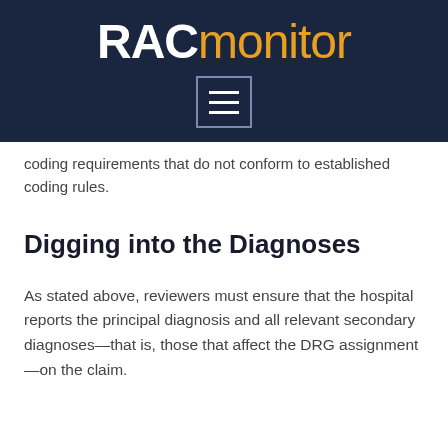RACmonitor
coding requirements that do not conform to established coding rules.
Digging into the Diagnoses
As stated above, reviewers must ensure that the hospital reports the principal diagnosis and all relevant secondary diagnoses—that is, those that affect the DRG assignment—on the claim.